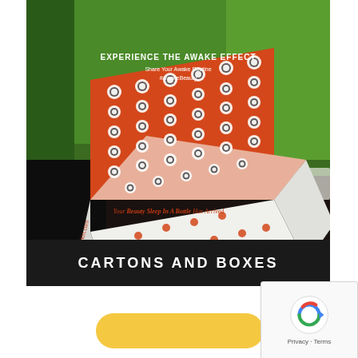[Figure (photo): An open cardboard box with orange interior printed with white and black circular dot pattern and text 'EXPERIENCE THE AWAKE EFFECT / Share Your Awake Routine / #AwakeBeauty'. The exterior of the box is white with orange dot pattern and text 'Your Beauty Sleep In A Bottle Has Arrived'. The box sits on a dark wooden table with a green blurred background.]
CARTONS AND BOXES
[Figure (other): reCAPTCHA widget overlay in bottom right corner showing a circular arrow icon with 'Privacy - Terms' text]
[Figure (other): Partially visible yellow rounded button at the bottom of the page]